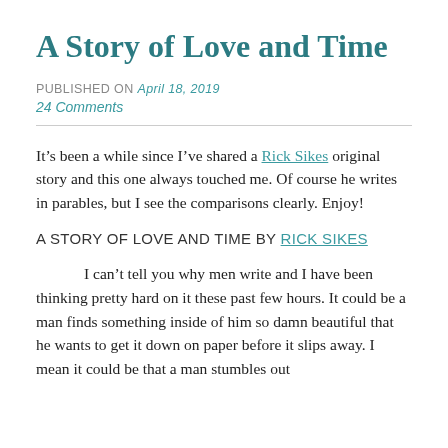A Story of Love and Time
PUBLISHED ON April 18, 2019
24 Comments
It’s been a while since I’ve shared a Rick Sikes original story and this one always touched me. Of course he writes in parables, but I see the comparisons clearly. Enjoy!
A STORY OF LOVE AND TIME BY RICK SIKES
I can’t tell you why men write and I have been thinking pretty hard on it these past few hours. It could be a man finds something inside of him so damn beautiful that he wants to get it down on paper before it slips away. I mean it could be that a man stumbles out